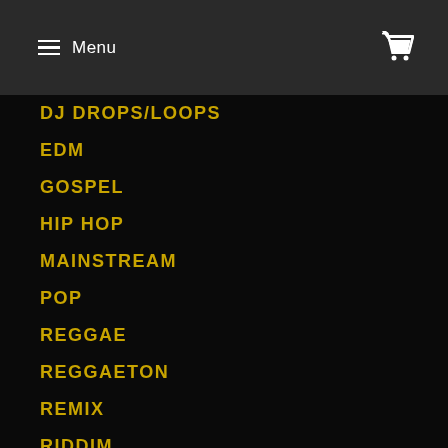Menu
DJ DROPS/LOOPS
EDM
GOSPEL
HIP HOP
MAINSTREAM
POP
REGGAE
REGGAETON
REMIX
RIDDIM
RNB
SINGLE
SOCA